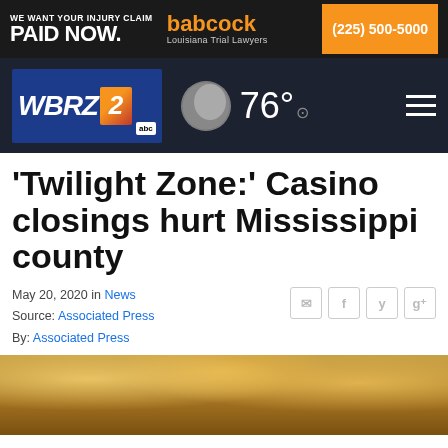[Figure (infographic): Babcock Louisiana Trial Lawyers advertisement banner: 'WE WANT YOUR INJURY CLAIM PAID NOW.' with babcock logo and phone number (225) 500-5000]
[Figure (infographic): WBRZ 2 ABC news channel navigation bar with moon weather icon showing 76 degrees and hamburger menu]
'Twilight Zone:' Casino closings hurt Mississippi county
May 20, 2020 in News
Source: Associated Press
By: Associated Press
[Figure (photo): Interior of a casino with chandeliers and ceiling lights]